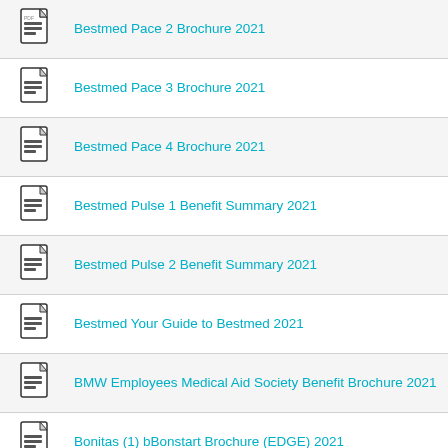Bestmed Pace 2 Brochure 2021
Bestmed Pace 3 Brochure 2021
Bestmed Pace 4 Brochure 2021
Bestmed Pulse 1 Benefit Summary 2021
Bestmed Pulse 2 Benefit Summary 2021
Bestmed Your Guide to Bestmed 2021
BMW Employees Medical Aid Society Benefit Brochure 2021
Bonitas (1) bBonstart Brochure (EDGE) 2021
Bonitas (10) BonComprehensive Brochure (SAVINGS) 2021
Bonitas (11) HospitalStandard Brochure (HOSPITAL) 2021